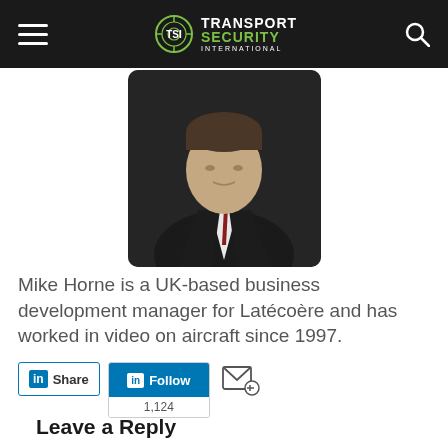Transport Security International
[Figure (photo): Headshot of Mike Horne, a man in a dark suit with white shirt and red tie, photographed against a dark background.]
Mike Horne is a UK-based business development manager for Latécoère and has worked in video on aircraft since 1997.
Share  Follow  1,124
Leave a Reply